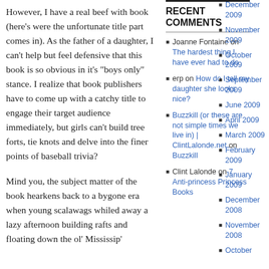However, I have a real beef with book (here’s were the unfortunate title part comes in). As the father of a daughter, I can’t help but feel defensive that this book is so obvious in it’s “boys only” stance. I realize that book publishers have to come up with a catchy title to engage their target audience immediately, but girls can’t build tree forts, tie knots and delve into the finer points of baseball trivia?
Mind you, the subject matter of the book hearkens back to a bygone era when young scalawags whiled away a lazy afternoon building rafts and floating down the ol’ Mississip’
RECENT COMMENTS
Joanne Fontaine on The hardest thing I have ever had to do
erp on How do I tell my daughter she looks nice?
Buzzkill (or these are not simple times we live in) | ClintLalonde.net on Buzzkill
Clint Lalonde on 7 Anti-princess Princess Books
December 2009
November 2009
October 2009
September 2009
June 2009
April 2009
March 2009
February 2009
January 2009
December 2008
November 2008
October